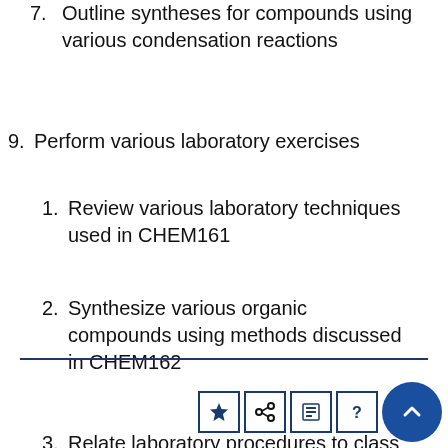7. Outline syntheses for compounds using various condensation reactions
9. Perform various laboratory exercises
1. Review various laboratory techniques used in CHEM161
2. Synthesize various organic compounds using methods discussed in CHEM162
3. Relate laboratory procedures to class material